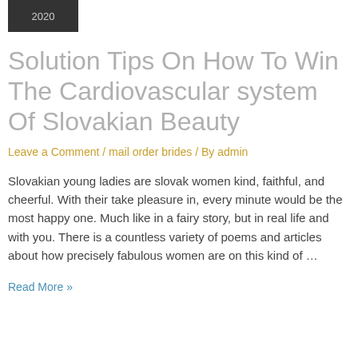[Figure (other): Dark badge/thumbnail with year 2020]
Solution Tips On How To Win The Cardiovascular system Of Slovakian Beauty
Leave a Comment / mail order brides / By admin
Slovakian young ladies are slovak women kind, faithful, and cheerful. With their take pleasure in, every minute would be the most happy one. Much like in a fairy story, but in real life and with you. There is a countless variety of poems and articles about how precisely fabulous women are on this kind of …
Read More »